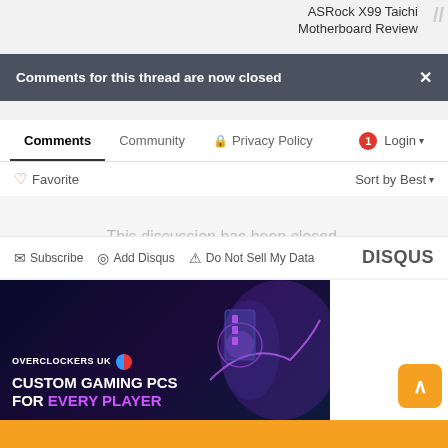ASRock X99 Taichi Motherboard Review
Comments for this thread are now closed
Comments  Community  Privacy Policy  Login
Favorite  Sort by Best
This discussion has been closed.
Subscribe  Add Disqus  Do Not Sell My Data  DISQUS
[Figure (photo): Overclockers UK advertisement banner: Custom Gaming PCs For Every Player, with illuminated gaming PC and purple neon lighting]